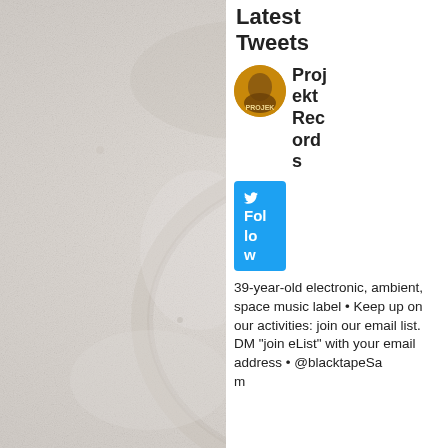[Figure (photo): Abstract close-up photo of a textured white/light grey surface with wet or frosted appearance, showing a circular impression or ring shape. The background is grainy and pale.]
Latest Tweets
[Figure (photo): Circular avatar image showing a golden/amber colored figure, labeled PROJEK]
Projekkt Records
Follow
39-year-old electronic, ambient, space music label • Keep up on our activities: join our email list. DM "join eList" with your email address • @blacktapeSam